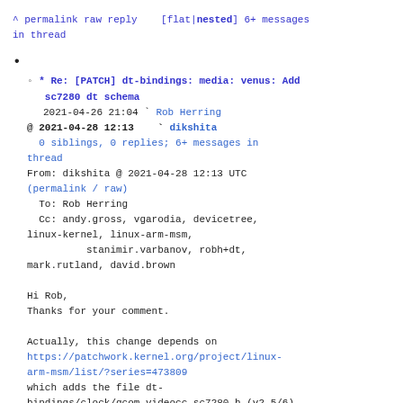^ permalink raw reply    [flat|nested] 6+ messages in thread
•
◦ * Re: [PATCH] dt-bindings: media: venus: Add sc7280 dt schema
2021-04-26 21:04 ` Rob Herring
@ 2021-04-28 12:13   ` dikshita
0 siblings, 0 replies; 6+ messages in thread
From: dikshita @ 2021-04-28 12:13 UTC
(permalink / raw)
  To: Rob Herring
  Cc: andy.gross, vgarodia, devicetree, linux-kernel, linux-arm-msm,
          stanimir.varbanov, robh+dt,
  mark.rutland, david.brown

Hi Rob,
Thanks for your comment.

Actually, this change depends on
https://patchwork.kernel.org/project/linux-arm-msm/list/?series=473809
which adds the file dt-bindings/clock/qcom,videocc-sc7280.h (v2 5/6)
Missed adding the dependency in commit text.